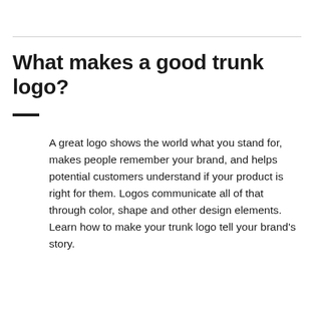What makes a good trunk logo?
A great logo shows the world what you stand for, makes people remember your brand, and helps potential customers understand if your product is right for them. Logos communicate all of that through color, shape and other design elements. Learn how to make your trunk logo tell your brand's story.